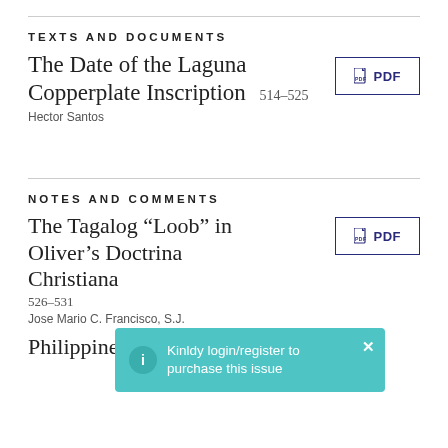TEXTS AND DOCUMENTS
The Date of the Laguna Copperplate Inscription 514–525
Hector Santos
NOTES AND COMMENTS
The Tagalog “Loob” in Oliver’s Doctrina Christiana 526–531
Jose Mario C. Francisco, S.J.
Philippine Theater and